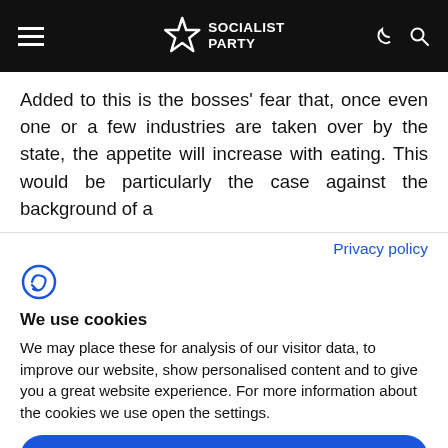Socialist Party
Added to this is the bosses’ fear that, once even one or a few industries are taken over by the state, the appetite will increase with eating. This would be particularly the case against the background of a
Privacy policy
[Figure (logo): Cookie consent icon (stylized C with checkmark in blue)]
We use cookies
We may place these for analysis of our visitor data, to improve our website, show personalised content and to give you a great website experience. For more information about the cookies we use open the settings.
Accept all
Deny
No, adjust